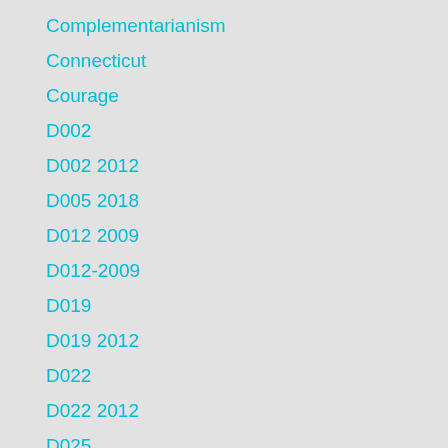Complementarianism
Connecticut
Courage
D002
D002 2012
D005 2018
D012 2009
D012-2009
D019
D019 2012
D022
D022 2012
D025
D029 2022
D030 2022
D032 2009
D036
D036 2015
D036 2018